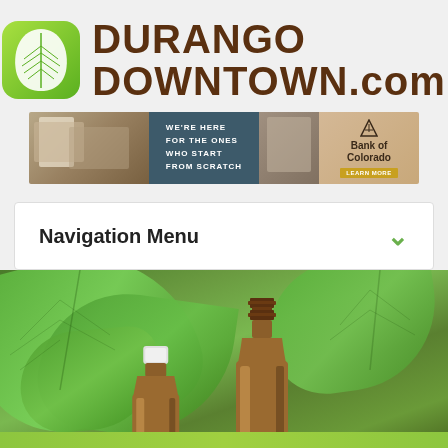[Figure (logo): Durango Downtown.com logo with green leaf icon and brown text]
[Figure (photo): Bank of Colorado advertisement banner: WE'RE HERE FOR THE ONES WHO START FROM SCRATCH]
Navigation Menu
[Figure (photo): Photo of amber essential oil bottles surrounded by green leaves]